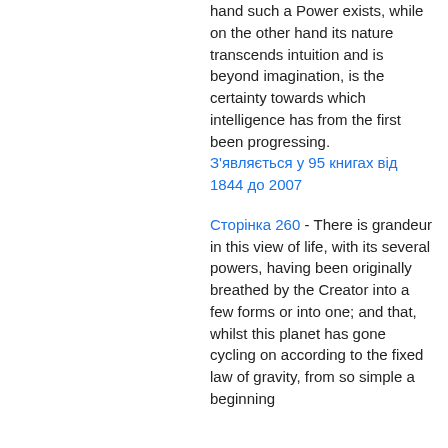hand such a Power exists, while on the other hand its nature transcends intuition and is beyond imagination, is the certainty towards which intelligence has from the first been progressing.
З'являється у 95 книгах від 1844 до 2007
Сторінка 260 - There is grandeur in this view of life, with its several powers, having been originally breathed by the Creator into a few forms or into one; and that, whilst this planet has gone cycling on according to the fixed law of gravity, from so simple a beginning